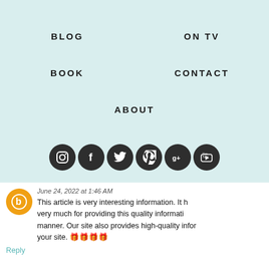BLOG
ON TV
BOOK
CONTACT
ABOUT
[Figure (illustration): Row of six dark circular social media icons: Instagram, Facebook, Twitter, Pinterest, Google+, YouTube]
June 24, 2022 at 1:46 AM
This article is very interesting information. It h... very much for providing this quality informati... manner. Our site also provides high-quality infor... your site. 🎁🎁🎁🎁
Reply